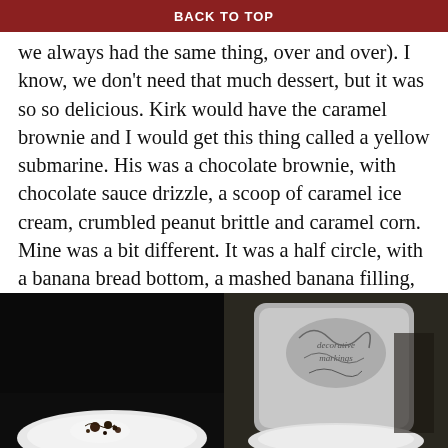BACK TO TOP
we always had the same thing, over and over).  I know, we don't need that much dessert, but it was so so delicious.  Kirk would have the caramel brownie and I would get this thing called a yellow submarine.  His was a chocolate brownie, with chocolate sauce drizzle, a scoop of caramel ice cream, crumbled peanut brittle and caramel corn.  Mine was a bit different.  It was a half circle, with a banana bread bottom, a mashed banana filling, surrounded by a coconut marshmallowy type stuff and then covered in white chocolate, with a piece of sugar glass and meringue shapes.  Sounds weird, but it was awesome!!
[Figure (photo): Dark photo showing a white plate with food remnants/crumbs on a dark background]
[Figure (photo): Dark photo showing what appears to be a bag or container with decorative markings/writing on it]